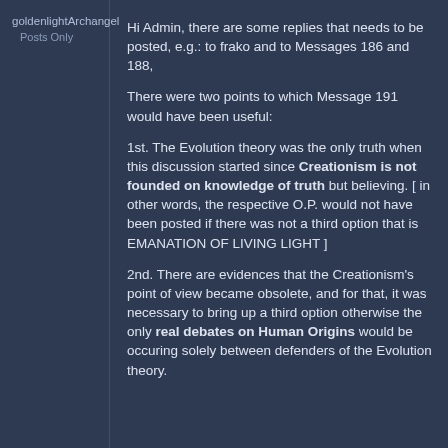goldenlightArchangel
Posts Only
Hi Admin, there are some replies that needs to be posted, e.g.: to frako and to Messages 186 and 188,
There were two points to which Message 191 would have been useful:
1st. The Evolution theory was the only truth when this discussion started since Creationism is not founded on knowledge of truth but believing. [ in other words, the respective O.P. would not have been posted if there was not a third option that is EMANATION OF LIVING LIGHT ]
2nd. There are evidences that the Creationism's point of view became obsolete, and for that, it was necessary to bring up a third option otherwise the only real debates on Human Origins would be occuring solely between defenders of the Evolution theory.